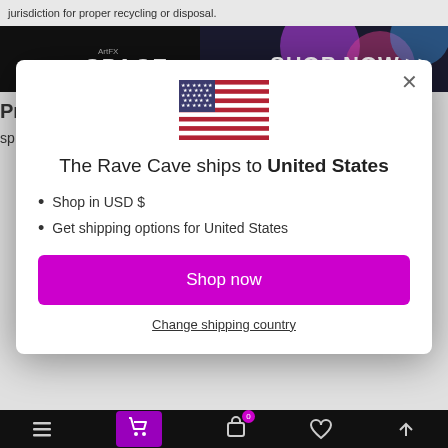jurisdiction for proper recycling or disposal.
[Figure (screenshot): ArtFX SPACE - SHOP NOW banner advertisement with colorful background]
The Rave Cave ships to United States
Shop in USD $
Get shipping options for United States
Shop now
Change shipping country